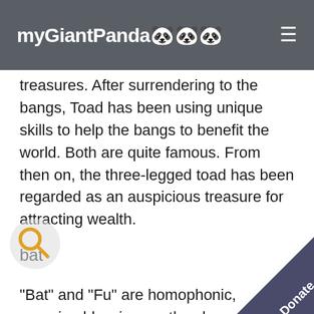myGiantPanda🐼🐼🐼
treasures. After surrendering to the bangs, Toad has been using unique skills to help the bangs to benefit the world. Both are quite famous. From then on, the three-legged toad has been regarded as an auspicious treasure for attracting wealth.
bat
“Bat” and “Fu” are homophonic, meaning blessing, so the shape of bats often appears on various utensils and is regarded as a symbol of blessing. Five blessings means five blessings. Together with copper coins mean blessings are in sight. Together with the sunrise or the waves, it means blessin…